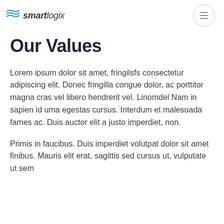smartlogix
Our Values
Lorem ipsum dolor sit amet, fringilsfs consectetur adipiscing elit. Donec fringilla congue dolor, ac porttitor magna cras vel libero hendrerit vel. Linomdel Nam in sapien id uma egestas cursus. Interdum et malesuada fames ac. Duis auctor elit a justo imperdiet, non.
Primis in faucibus. Duis imperdiet volutpat dolor sit amet finibus. Mauris elit erat, sagittis sed cursus ut, vulputate ut sem